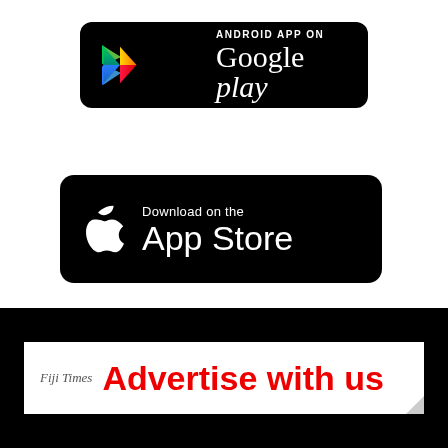[Figure (logo): Android App on Google Play badge — black rounded rectangle with Google Play logo (colorful triangle) and white text 'ANDROID APP ON Google play']
[Figure (logo): Download on the App Store badge — black rounded rectangle with white Apple logo and white text 'Download on the App Store']
[Figure (logo): Fiji Times Advertise with us banner — white rectangle on black background with italic gray 'Fiji Times' and bold red 'Advertise with us' text]